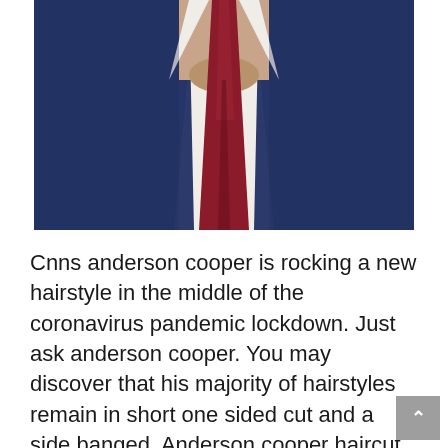[Figure (photo): Close-up photo of a man from the chin down, wearing a white dress shirt, dark burgundy/maroon tie, and dark navy blue suit jacket. The photo is cropped showing only the lower face/neck and torso.]
Cnns anderson cooper is rocking a new hairstyle in the middle of the coronavirus pandemic lockdown. Just ask anderson cooper. You may discover that his majority of hairstyles remain in short one sided cut and a side banged. Anderson cooper haircut. If you like any of these anderson cooper haircut 2020 you have to tell others about his brand-new looks. Anderson cooper reveals dr. Cool anderson cooper haircut a pledge of self confidence a means to draw in the attentions of other person attribute of